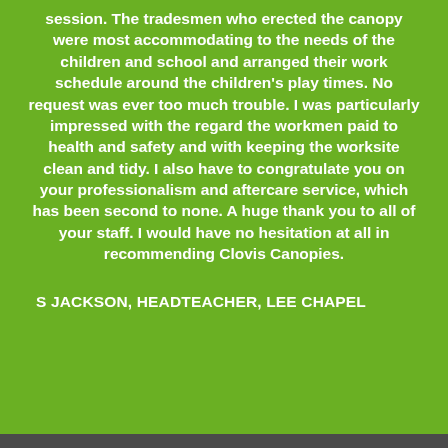session. The tradesmen who erected the canopy were most accommodating to the needs of the children and school and arranged their work schedule around the children's play times. No request was ever too much trouble. I was particularly impressed with the regard the workmen paid to health and safety and with keeping the worksite clean and tidy. I also have to congratulate you on your professionalism and aftercare service, which has been second to none. A huge thank you to all of your staff. I would have no hesitation at all in recommending Clovis Canopies.
S JACKSON, HEADTEACHER, LEE CHAPEL